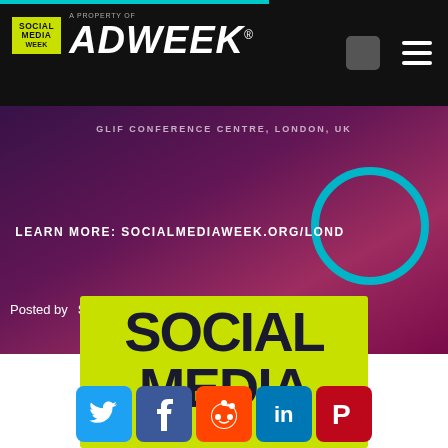Social Media Week — A Property of ADWEEK
[Figure (screenshot): Social Media Week London event banner with gradient purple-pink background, text 'LEARN MORE: SOCIALMEDIAWEEK.ORG/LOND' and 'Posted by Social Media Week London']
[Figure (logo): Social Media Week logo on lime green background with large dark text 'SOCIAL MEDIA']
[Figure (infographic): Social share buttons: Twitter (blue), Facebook (dark blue), Reddit (orange), LinkedIn (light blue), Pinterest (red)]